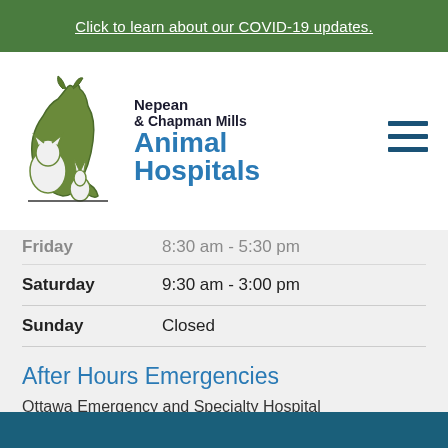Click to learn about our COVID-19 updates.
[Figure (logo): Nepean & Chapman Mills Animal Hospitals logo with green fox/cat/rabbit silhouette illustration]
Friday   8:30 am - 5:30 pm
Saturday   9:30 am - 3:00 pm
Sunday   Closed
After Hours Emergencies
Ottawa Emergency and Specialty Hospital
613-745-0123